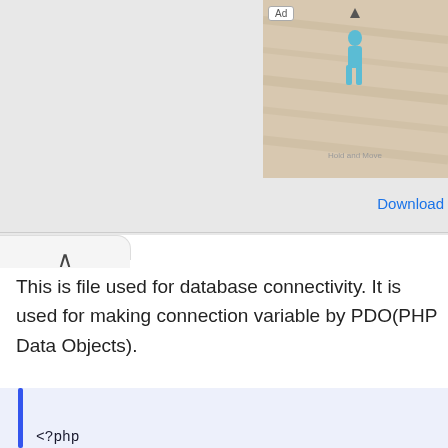[Figure (screenshot): Mobile ad banner showing a game screenshot and Follic app icon with Download button]
This is file used for database connectivity. It is used for making connection variable by PDO(PHP Data Objects).
<?php
function connection_open() {
// Database credential
$servername = "localhost";
$username = "root";
$password = "";
//Data base name
$dbname = "psunel";